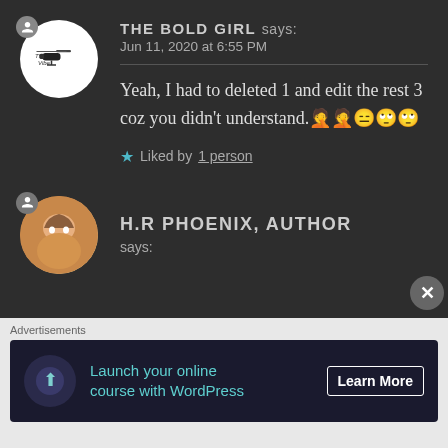THE BOLD GIRL says: Jun 11, 2020 at 6:55 PM
Yeah, I had to deleted 1 and edit the rest 3 coz you didn't understand. 🤦🤦😑🙄🙄
★ Liked by 1 person
H.R PHOENIX, AUTHOR says:
[Figure (screenshot): Advertisement banner: Launch your online course with WordPress - Learn More]
Advertisements